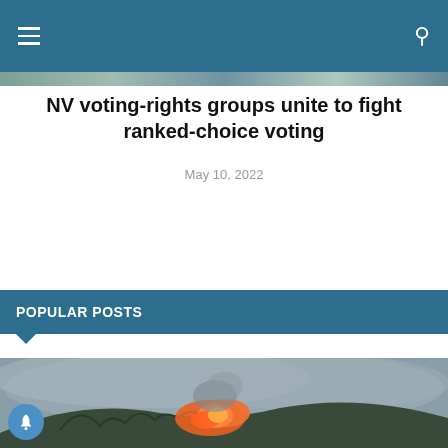Navigation bar with hamburger menu and search icon
NV voting-rights groups unite to fight ranked-choice voting
May 10, 2022
POPULAR POSTS
[Figure (photo): Photo of a wildfire with orange flames and smoke on a hillside, hazy grey sky]